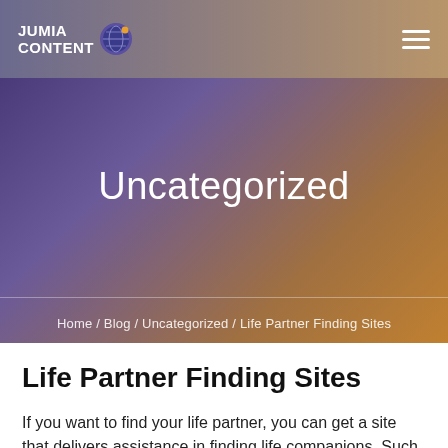[Figure (logo): Jumia Content logo with globe icon in navigation bar]
Uncategorized
Home / Blog / Uncategorized / Life Partner Finding Sites
Life Partner Finding Sites
If you want to find your life partner, you can get a site that delivers assistance in finding life companions. Such sites